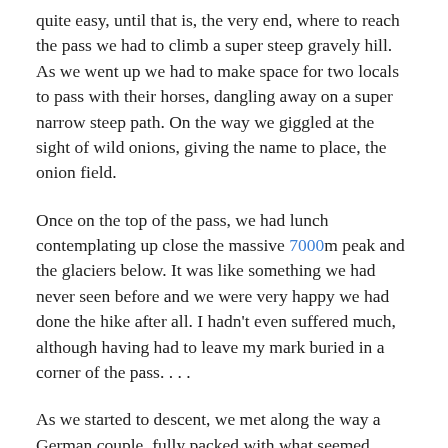quite easy, until that is, the very end, where to reach the pass we had to climb a super steep gravely hill. As we went up we had to make space for two locals to pass with their horses, dangling away on a super narrow steep path. On the way we giggled at the sight of wild onions, giving the name to place, the onion field.
Once on the top of the pass, we had lunch contemplating up close the massive 7000m peak and the glaciers below. It was like something we had never seen before and we were very happy we had done the hike after all. I hadn't even suffered much, although having had to leave my mark buried in a corner of the pass. ...
As we started to descent, we met along the way a German couple, fully packed with what seemed backpacks weighing 100kg each. They were, to our admiration, going to take around 3 weeks, between camp bases and acclimatisation, to attempt to reach the 7000m summit.